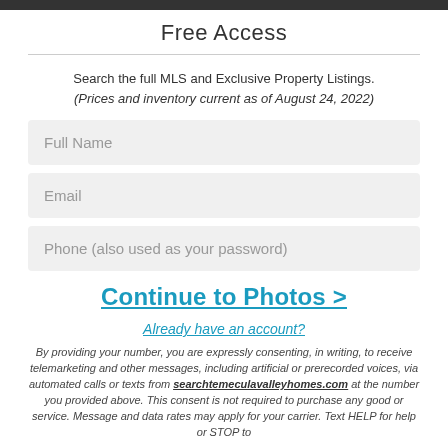Free Access
Search the full MLS and Exclusive Property Listings.
(Prices and inventory current as of August 24, 2022)
Full Name
Email
Phone (also used as your password)
Continue to Photos >
Already have an account?
By providing your number, you are expressly consenting, in writing, to receive telemarketing and other messages, including artificial or prerecorded voices, via automated calls or texts from searchtemeculavalleyhomes.com at the number you provided above. This consent is not required to purchase any good or service. Message and data rates may apply for your carrier. Text HELP for help or STOP to